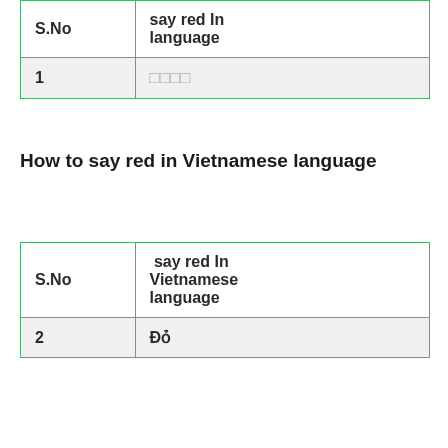| S.No | say red In [previous] language |
| --- | --- |
| 1 | □□□□ |
How to say red in Vietnamese language
| S.No | say red In Vietnamese language |
| --- | --- |
| 2 | Đỏ |